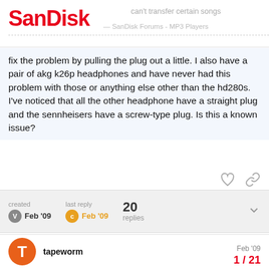SanDisk — can't transfer certain songs
fix the problem by pulling the plug out a little. I also have a pair of akg k26p headphones and have never had this problem with those or anything else other than the hd280s. I've noticed that all the other headphone have a straight plug and the sennheisers have a screw-type plug. Is this a known issue?
created Feb '09  last reply Feb '09  20 replies
tapeworm  Feb '09
I can't speak to the headphone issue as I'm not familar with the ones you mention, but as far as the transferring problem what format(s) are the files you are trying
1 / 21